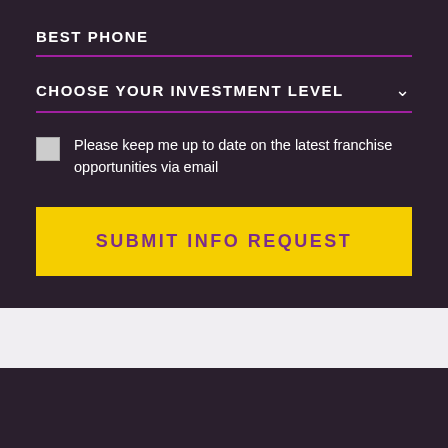BEST PHONE
CHOOSE YOUR INVESTMENT LEVEL
Please keep me up to date on the latest franchise opportunities via email
SUBMIT INFO REQUEST